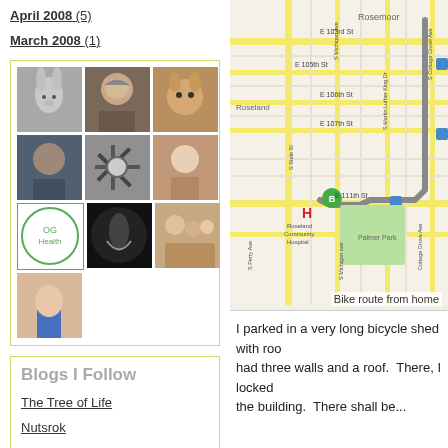April 2008 (5)
March 2008 (1)
[Figure (photo): Grid of profile/avatar photos in a bordered box]
Blogs I Follow
The Tree of Life
Nutsrok
Humor
[Figure (map): Google Maps screenshot showing bike route in Roseland/Chicago area near E 111th St, with marker B and route highlighted]
Bike route from home
I parked in a very long bicycle shed with roo had three walls and a roof.  There, I locked the building.  There shall be...